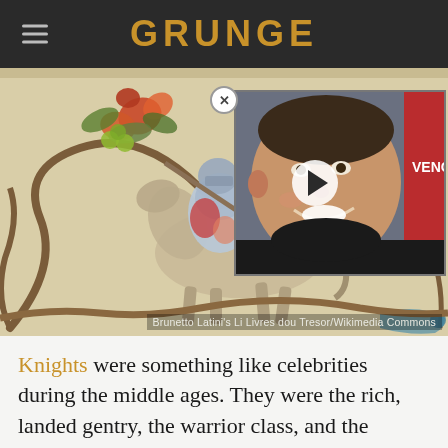GRUNGE
[Figure (illustration): Medieval manuscript illustration of a knight on horseback, possibly jousting or fighting, with decorative vine and leaf motifs in an illuminated manuscript style. A video thumbnail overlay in the top-right corner shows a smiling man with a play button, and partial red text 'VENGE' visible on the right side.]
Brunetto Latini's Li Livres dou Tresor/Wikimedia Commons
Knights were something like celebrities during the middle ages. They were the rich, landed gentry, the warrior class, and the overseers of protection, all rolled into one. So needless to say they fought a great many things, from rival knights, to villains, to dragons and monsters. But